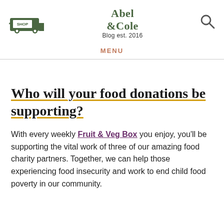SHOP | Abel & Cole Blog est. 2016
MENU
Who will your food donations be supporting?
With every weekly Fruit & Veg Box you enjoy, you'll be supporting the vital work of three of our amazing food charity partners. Together, we can help those experiencing food insecurity and work to end child food poverty in our community.